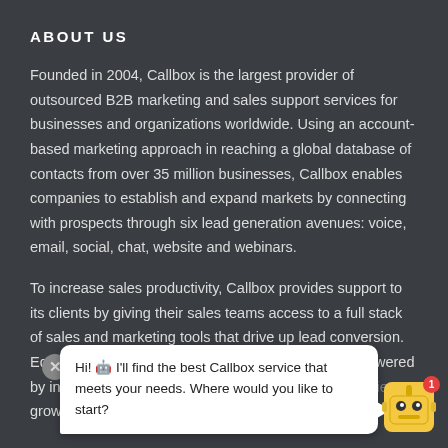ABOUT US
Founded in 2004, Callbox is the largest provider of outsourced B2B marketing and sales support services for businesses and organizations worldwide. Using an account-based marketing approach in reaching a global database of contacts from over 35 million businesses, Callbox enables companies to establish and expand markets by connecting with prospects through six lead generation avenues: voice, email, social, chat, website and webinars.
To increase sales productivity, Callbox provides support to its clients by giving their sales teams access to a full stack of sales and marketing tools that drive up lead conversion. Equipped with decades of marketing expertise and powered by intuitive sales and marketing tools, Callbox helps clients grow their businesses.
[Figure (other): Chat bot popup overlay with close button, speech bubble saying 'Hi! I'll find the best Callbox service that meets your needs. Where would you like to start?' and a robot avatar icon with a red badge showing 1.]